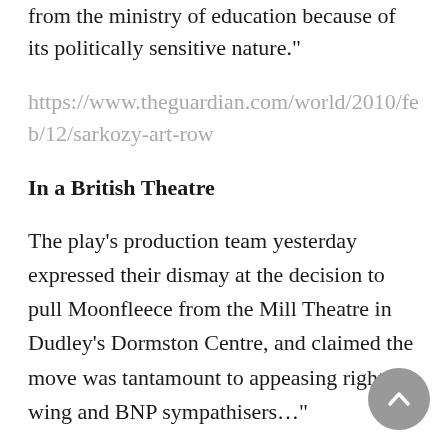from the ministry of education because of its politically sensitive nature."
https://www.theguardian.com/world/2010/feb/12/sarkozy-art-row
In a British Theatre
The play's production team yesterday expressed their dismay at the decision to pull Moonfleece from the Mill Theatre in Dudley's Dormston Centre, and claimed the move was tantamount to appeasing right-wing and BNP sympathisers…"
https://www.independent.co.uk/arts-entertainment/theatre-dance/news/banned-play-that-